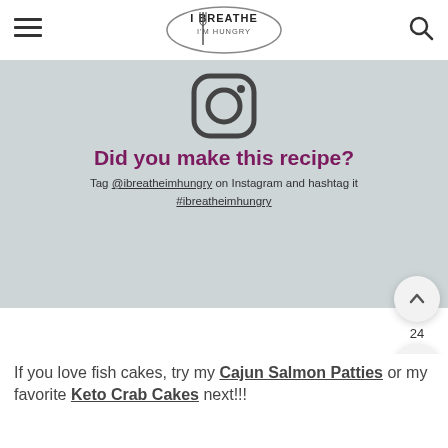I BREATHE I'M HUNGRY
[Figure (logo): Instagram logo icon (rounded square with circle and dot), gray outline]
Did you make this recipe?
Tag @ibreatheimhungry on Instagram and hashtag it #ibreatheimhungry
If you love fish cakes, try my Cajun Salmon Patties or my favorite Keto Crab Cakes next!!!